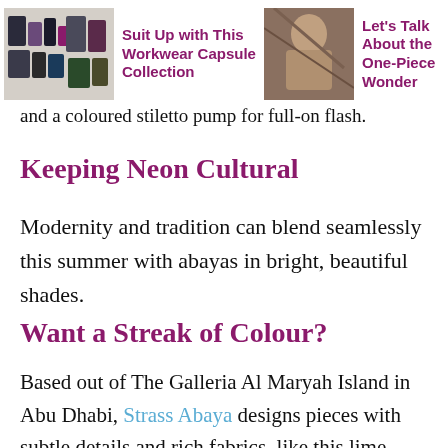Suit Up with This Workwear Capsule Collection | Let's Talk About the One-Piece Wonder
and a coloured stiletto pump for full-on flash.
Keeping Neon Cultural
Modernity and tradition can blend seamlessly this summer with abayas in bright, beautiful shades.
Want a Streak of Colour?
Based out of The Galleria Al Maryah Island in Abu Dhabi, Strass Abaya designs pieces with subtle details and rich fabrics, like this lime-green version with pearlescent beading.